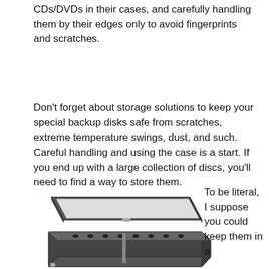CDs/DVDs in their cases, and carefully handling them by their edges only to avoid fingerprints and scratches.
Don’t forget about storage solutions to keep your special backup disks safe from scratches, extreme temperature swings, dust, and such. Careful handling and using the case is a start. If you end up with a large collection of discs, you’ll need to find a way to store them.
[Figure (photo): A black CD/DVD storage case shown open, with the lid lifted and the body of the case containing disc slots visible below.]
To be literal, I suppose you could keep them in a